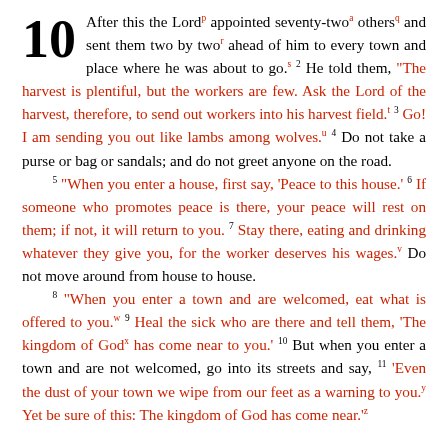10 After this the Lord appointed seventy-two others and sent them two by two ahead of him to every town and place where he was about to go. 2 He told them, "The harvest is plentiful, but the workers are few. Ask the Lord of the harvest, therefore, to send out workers into his harvest field. 3 Go! I am sending you out like lambs among wolves. 4 Do not take a purse or bag or sandals; and do not greet anyone on the road. 5 "When you enter a house, first say, 'Peace to this house.' 6 If someone who promotes peace is there, your peace will rest on them; if not, it will return to you. 7 Stay there, eating and drinking whatever they give you, for the worker deserves his wages. Do not move around from house to house. 8 "When you enter a town and are welcomed, eat what is offered to you. 9 Heal the sick who are there and tell them, 'The kingdom of God has come near to you.' 10 But when you enter a town and are not welcomed, go into its streets and say, 11 'Even the dust of your town we wipe from our feet as a warning to you. Yet be sure of this: The kingdom of God has come near.'